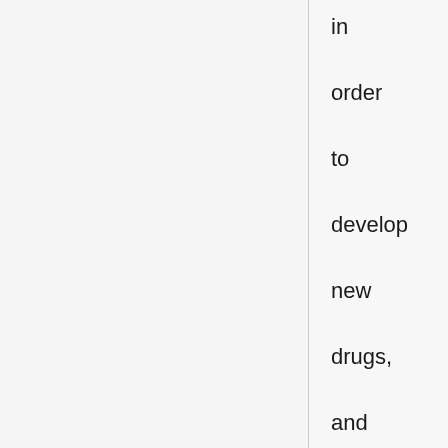in order to develop new drugs, and to test the safety of proposed drugs. The